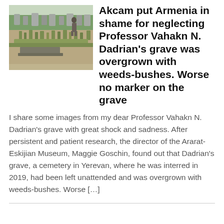[Figure (photo): Photograph of an overgrown cemetery grave site with weeds and bushes, a person standing in the background among gravestones.]
Akcam put Armenia in shame for neglecting Professor Vahakn N. Dadrian's grave was overgrown with weeds-bushes. Worse no marker on the grave
I share some images from my dear Professor Vahakn N. Dadrian's grave with great shock and sadness. After persistent and patient research, the director of the Ararat-Eskijian Museum, Maggie Goschin, found out that Dadrian's grave, a cemetery in Yerevan, where he was interred in 2019, had been left unattended and was overgrown with weeds-bushes. Worse […]